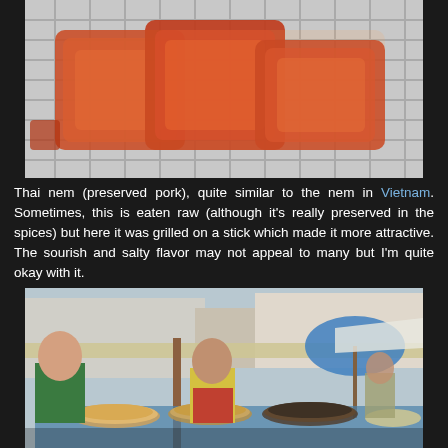[Figure (photo): Close-up photo of Thai nem (preserved pork) pieces on a metal grill rack, glazed and caramelized in reddish-brown sauce]
Thai nem (preserved pork), quite similar to the nem in Vietnam. Sometimes, this is eaten raw (although it's really preserved in the spices) but here it was grilled on a stick which made it more attractive. The sourish and salty flavor may not appeal to many but I'm quite okay with it.
[Figure (photo): Outdoor street food market scene with vendors selling various Thai dishes in large trays and bowls, a woman in green shirt on the left and another in yellow shirt and red apron in the center, blue umbrella visible in background]